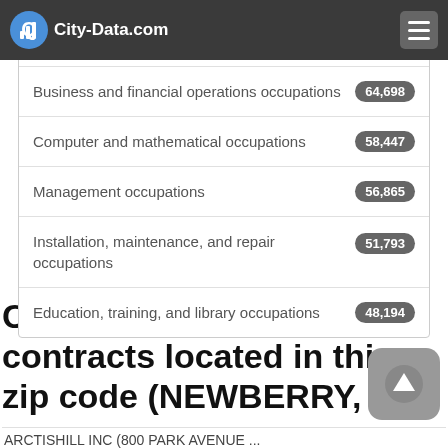City-Data.com
| Occupation | Count |
| --- | --- |
| Architecture and engineering occupations | 102,914 |
| Business and financial operations occupations | 64,698 |
| Computer and mathematical occupations | 58,447 |
| Management occupations | 56,865 |
| Installation, maintenance, and repair occupations | 51,793 |
| Education, training, and library occupations | 48,194 |
Companies with federal contracts located in this zip code (NEWBERRY, SC):
ARCTISHILL INC (800 PARK AVENUE ...